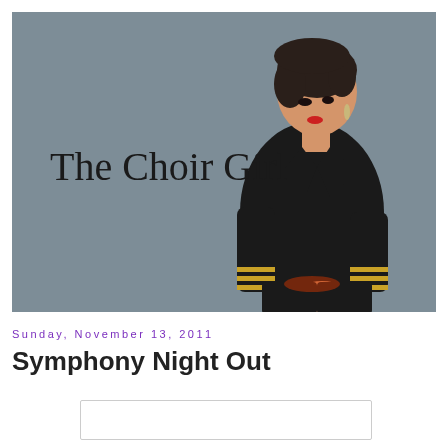[Figure (photo): Woman in black blazer with gold stripe cuffs, short dark hair, seated and looking down, against a grey background with text 'The Choir Girl' overlaid in serif font on the left side.]
Sunday, November 13, 2011
Symphony Night Out